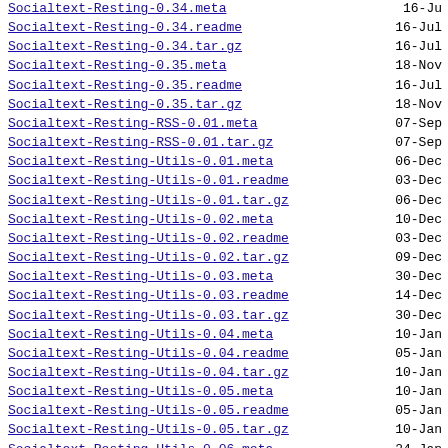Socialtext-Resting-0.34.meta	16-Ju
Socialtext-Resting-0.34.readme	16-Jul
Socialtext-Resting-0.34.tar.gz	16-Jul
Socialtext-Resting-0.35.meta	18-Nov
Socialtext-Resting-0.35.readme	16-Jul
Socialtext-Resting-0.35.tar.gz	18-Nov
Socialtext-Resting-RSS-0.01.meta	07-Sep
Socialtext-Resting-RSS-0.01.tar.gz	07-Sep
Socialtext-Resting-Utils-0.01.meta	06-Dec
Socialtext-Resting-Utils-0.01.readme	03-Dec
Socialtext-Resting-Utils-0.01.tar.gz	06-Dec
Socialtext-Resting-Utils-0.02.meta	10-Dec
Socialtext-Resting-Utils-0.02.readme	03-Dec
Socialtext-Resting-Utils-0.02.tar.gz	09-Dec
Socialtext-Resting-Utils-0.03.meta	30-Dec
Socialtext-Resting-Utils-0.03.readme	14-Dec
Socialtext-Resting-Utils-0.03.tar.gz	30-Dec
Socialtext-Resting-Utils-0.04.meta	10-Jan
Socialtext-Resting-Utils-0.04.readme	05-Jan
Socialtext-Resting-Utils-0.04.tar.gz	10-Jan
Socialtext-Resting-Utils-0.05.meta	10-Jan
Socialtext-Resting-Utils-0.05.readme	05-Jan
Socialtext-Resting-Utils-0.05.tar.gz	10-Jan
Socialtext-Resting-Utils-0.06.meta	24-Jan
Socialtext-Resting-Utils-0.06.readme	24-Jan
Socialtext-Resting-Utils-0.06.tar.gz	24-Jan
Socialtext-Resting-Utils-0.07.meta	25-Jan
Socialtext-Resting-Utils-0.07.readme	24-Jan
Socialtext-Resting-Utils-0.07.tar.gz	25-Jan
Socialtext-Resting-Utils-0.08.meta	11-Feb
Socialtext-Resting-Utils-0.08.readme	21-...